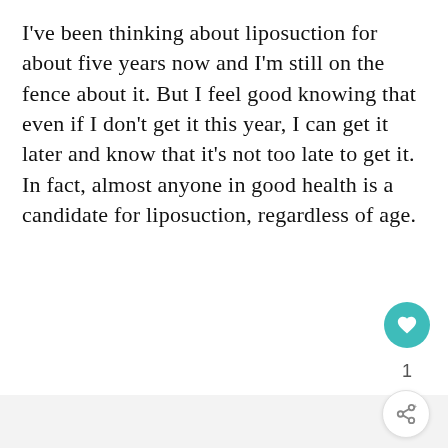I've been thinking about liposuction for about five years now and I'm still on the fence about it. But I feel good knowing that even if I don't get it this year, I can get it later and know that it's not too late to get it. In fact, almost anyone in good health is a candidate for liposuction, regardless of age.
[Figure (other): Light gray image placeholder area below the text block]